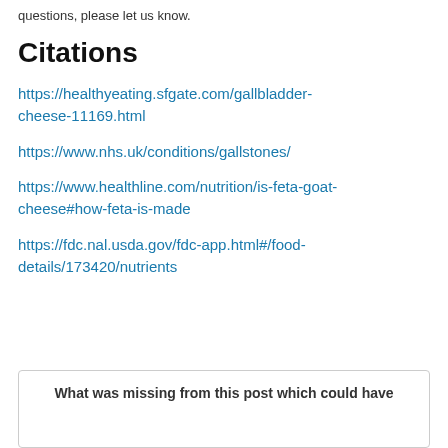questions, please let us know.
Citations
https://healthyeating.sfgate.com/gallbladder-cheese-11169.html
https://www.nhs.uk/conditions/gallstones/
https://www.healthline.com/nutrition/is-feta-goat-cheese#how-feta-is-made
https://fdc.nal.usda.gov/fdc-app.html#/food-details/173420/nutrients
What was missing from this post which could have